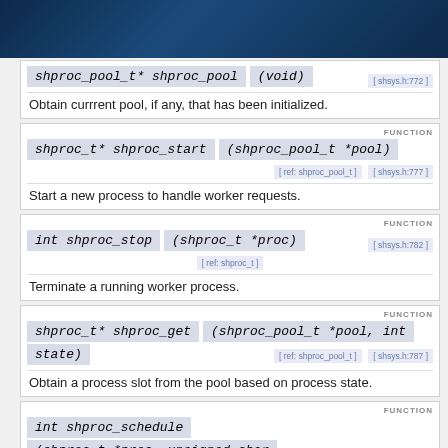[Figure (other): Dark blue textured header background]
shproc_pool_t* shproc_pool (void) [ shsys.h:772 ]
Obtain currrent pool, if any, that has been initialized.
FUNCTION
shproc_t* shproc_start (shproc_pool_t *pool) [ ref: shproc_pool_t ] [ shsys.h:777 ]
Start a new process to handle worker requests.
FUNCTION
int shproc_stop (shproc_t *proc) [ shsys.h:782 ] [ ref: shproc_t ]
Terminate a running worker process.
FUNCTION
shproc_t* shproc_get (shproc_pool_t *pool, int state) [ ref: shproc_pool_t ] [ shsys.h:787 ]
Obtain a process slot from the pool based on process state.
FUNCTION
int shproc_schedule (shproc_t *proc, unsigned char *data, size_t data_len) [ ref: shproc_t ] [ shsys.h:789 ]